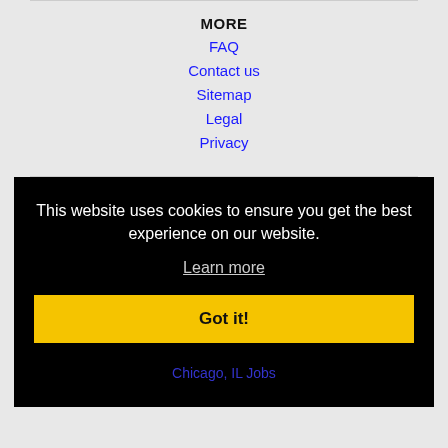MORE
FAQ
Contact us
Sitemap
Legal
Privacy
This website uses cookies to ensure you get the best experience on our website.
Learn more
Got it!
Chicago, IL Jobs